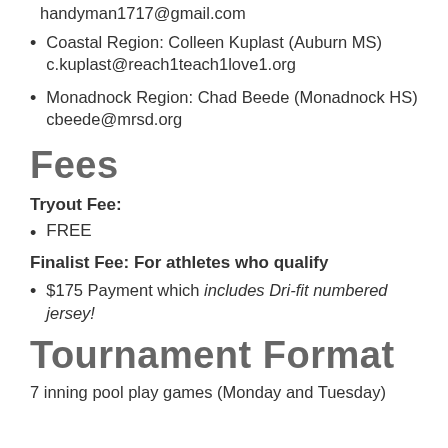handyman1717@gmail.com
Coastal Region: Colleen Kuplast (Auburn MS) c.kuplast@reach1teach1love1.org
Monadnock Region: Chad Beede (Monadnock HS) cbeede@mrsd.org
Fees
Tryout Fee:
FREE
Finalist Fee: For athletes who qualify
$175 Payment which includes Dri-fit numbered jersey!
Tournament Format
7 inning pool play games (Monday and Tuesday)